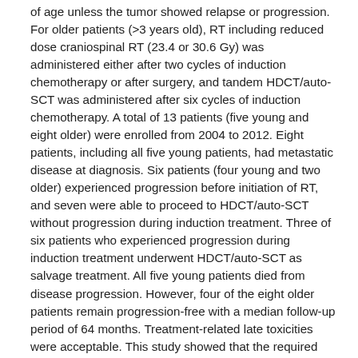of age unless the tumor showed relapse or progression. For older patients (>3 years old), RT including reduced dose craniospinal RT (23.4 or 30.6 Gy) was administered either after two cycles of induction chemotherapy or after surgery, and tandem HDCT/auto-SCT was administered after six cycles of induction chemotherapy. A total of 13 patients (five young and eight older) were enrolled from 2004 to 2012. Eight patients, including all five young patients, had metastatic disease at diagnosis. Six patients (four young and two older) experienced progression before initiation of RT, and seven were able to proceed to HDCT/auto-SCT without progression during induction treatment. Three of six patients who experienced progression during induction treatment underwent HDCT/auto-SCT as salvage treatment. All five young patients died from disease progression. However, four of the eight older patients remain progression-free with a median follow-up period of 64 months. Treatment-related late toxicities were acceptable. This study showed that the required dose of craniospinal RT might be reduced in older patients if the intensity of chemotherapy is increased. However, early administration of RT should be considered to prevent early progression in young patients.
HDCT/AUTO-SCT FOR OTHER HIGH-RISK